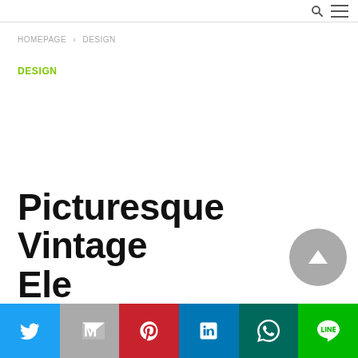Navigation bar with search and menu icons
HOMEPAGE › DESIGN
DESIGN
Picturesque Vintage Ele…
Social share bar: Twitter, Gmail, Pinterest, LinkedIn, WhatsApp, LINE